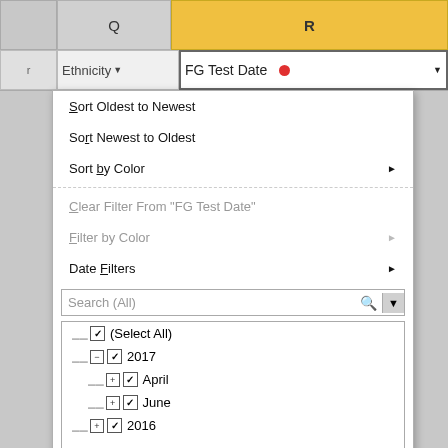[Figure (screenshot): Excel spreadsheet column header row showing columns Q (Ethnicity) and R (FG Test Date) with an active dropdown filter menu on the FG Test Date column. The menu shows sort options, filter options, a search box, and a tree-style date picker with checkboxes showing (Select All), 2017 (expanded with April and June), and 2016. OK and Cancel buttons appear at the bottom.]